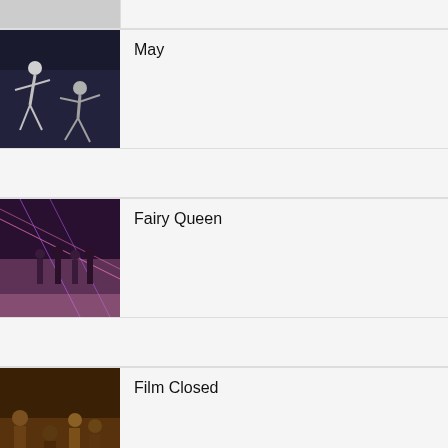[Figure (photo): Partial row at top, cropped]
May
[Figure (photo): Dance performance photo - May]
Fairy Queen
[Figure (photo): Dance performance photo - Fairy Queen with pink/purple lighting and multiple dancers]
Film Closed
[Figure (photo): Film/performance photo - Film Closed, group scene with warm orange tones]
BEST OF 420PEOPLE & PLEASE THE TREES
[Figure (photo): Performance photo - Best of 420People & Please the Trees, dark stage]